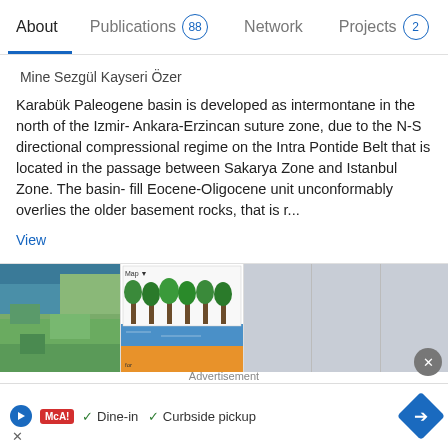About  Publications 88  Network  Projects 2
Mine Sezgül Kayseri Özer
Karabük Paleogene basin is developed as intermontane in the north of the Izmir- Ankara-Erzincan suture zone, due to the N-S directional compressional regime on the Intra Pontide Belt that is located in the passage between Sakarya Zone and Istanbul Zone. The basin- fill Eocene-Oligocene unit unconformably overlies the older basement rocks, that is r...
View
[Figure (photo): Satellite aerial view image of coastline/terrain on left, and an illustrated diagram of trees/vegetation layers with blue water and orange sediment on right. Three additional gray placeholder image squares follow to the right.]
Palaeoecological Investigations of the Middle-Late Eocene Marine Evaporite bearing units in the Western Pontides (Bolu-Bakacak area of NW Turkey): Palynoflora
Advertisement
✓ Dine-in  ✓ Curbside pickup